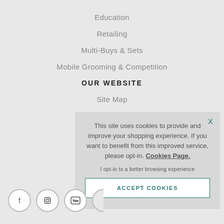Education
Retailing
Multi-Buys & Sets
Mobile Grooming & Competition
OUR WEBSITE
Site Map
This site uses cookies to provide and improve your shopping experience. If you want to benefit from this improved service, please opt-in. Cookies Page.
I opt-in to a better browsing experience
ACCEPT COOKIES